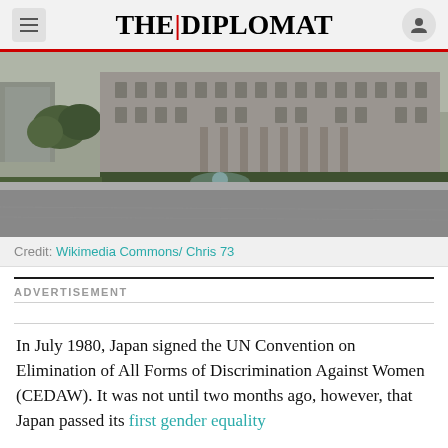THE | DIPLOMAT
[Figure (photo): Photograph of a large neoclassical government building with columns, trees, a fountain, and a wide empty road in the foreground. Gray overcast day.]
Credit: Wikimedia Commons/ Chris 73
ADVERTISEMENT
In July 1980, Japan signed the UN Convention on Elimination of All Forms of Discrimination Against Women (CEDAW). It was not until two months ago, however, that Japan passed its first gender equality